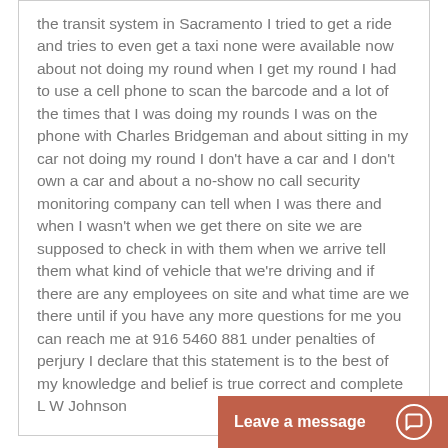the transit system in Sacramento I tried to get a ride and tries to even get a taxi none were available now about not doing my round when I get my round I had to use a cell phone to scan the barcode and a lot of the times that I was doing my rounds I was on the phone with Charles Bridgeman and about sitting in my car not doing my round I don't have a car and I don't own a car and about a no-show no call security monitoring company can tell when I was there and when I wasn't when we get there on site we are supposed to check in with them when we arrive tell them what kind of vehicle that we're driving and if there are any employees on site and what time are we there until if you have any more questions for me you can reach me at 916 5460 881 under penalties of perjury I declare that this statement is to the best of my knowledge and belief is true correct and complete L W Johnson
Reply
Heather on February 25, 2021 at 12:56 pm
The owner of Circ Pizz...
Leave a message